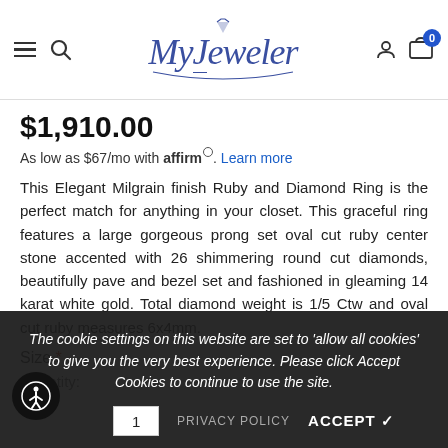MyJeweler — navigation header with hamburger, search, logo, account, and cart icons
$1,910.00
As low as $67/mo with affirm. Learn more
This Elegant Milgrain finish Ruby and Diamond Ring is the perfect match for anything in your closet. This graceful ring features a large gorgeous prong set oval cut ruby center stone accented with 26 shimmering round cut diamonds, beautifully pave and bezel set and fashioned in gleaming 14 karat white gold. Total diamond weight is 1/5 Ctw and oval cut ruby measures 6x4mm.
Size *
The cookie settings on this website are set to 'allow all cookies' to give you the very best experience. Please click Accept Cookies to continue to use the site.
Quantity:
PRIVACY POLICY   ACCEPT ✓